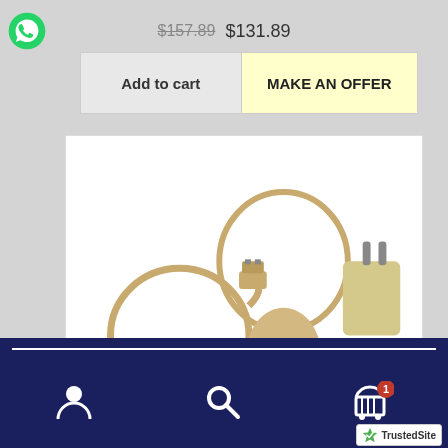$157.89  $131.89
[Figure (logo): WhatsApp green logo icon]
Add to cart    MAKE AN OFFER
[Figure (photo): Product photo showing gold/champagne colored USB cable, keychain-style device with buttons, EU plug adapter, with text 'or' between two adapter variants]
User icon, Search icon, Cart icon with badge '1', TrustedSite badge